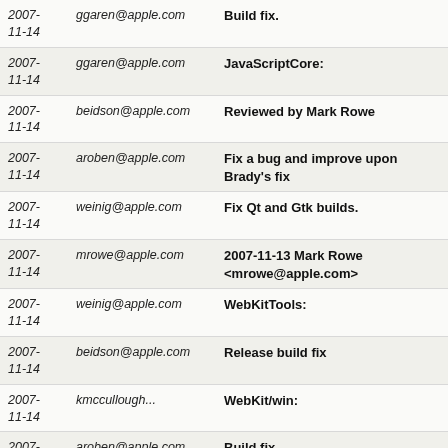| Date | Author | Summary |
| --- | --- | --- |
| 2007-11-14 | ggaren@apple.com | Build fix. |
| 2007-11-14 | ggaren@apple.com | JavaScriptCore: |
| 2007-11-14 | beidson@apple.com | Reviewed by Mark Rowe |
| 2007-11-14 | aroben@apple.com | Fix a bug and improve upon Brady's fix |
| 2007-11-14 | weinig@apple.com | Fix Qt and Gtk builds. |
| 2007-11-14 | mrowe@apple.com | 2007-11-13 Mark Rowe <mrowe@apple.com> |
| 2007-11-14 | weinig@apple.com | WebKitTools: |
| 2007-11-14 | beidson@apple.com | Release build fix |
| 2007-11-14 | kmccullough... | WebKit/win: |
| 2007-11-14 | aroben@apple.com | Build fix |